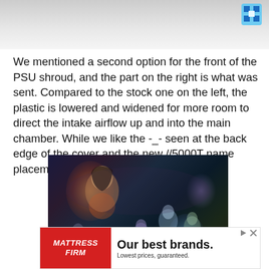[Figure (photo): Top portion of a PC case photo (PSU shroud area), partially cropped at top. Small pixel-art hammer/tool icon visible in upper right corner.]
We mentioned a second option for the front of the PSU shroud, and the part on the right is what was sent. Compared to the stock one on the left, the plastic is lowered and widened for more room to direct the intake airflow up and into the main chamber. While we like the -_- seen at the back edge of the cover and the new //5000T name placement, it comes with an issue.
[Figure (illustration): Anime-style illustration showing multiple fantasy characters including a woman in the foreground and several other characters in a dark, atmospheric scene with glowing effects.]
[Figure (screenshot): Advertisement banner for Mattress Firm: red logo box on left with 'MATTRESS FIRM' text in white italic, followed by 'Our best brands. Lowest prices, guaranteed.' text. Small play and close icons in top right of banner.]